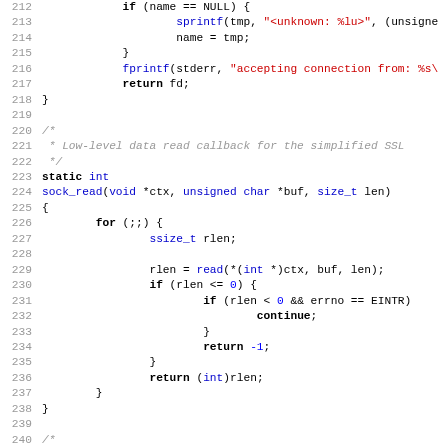[Figure (screenshot): Source code listing in C showing lines 212-243, with syntax highlighting: keywords in bold black, function names in blue, string literals in red, comments in gray italic, and line numbers in light gray.]